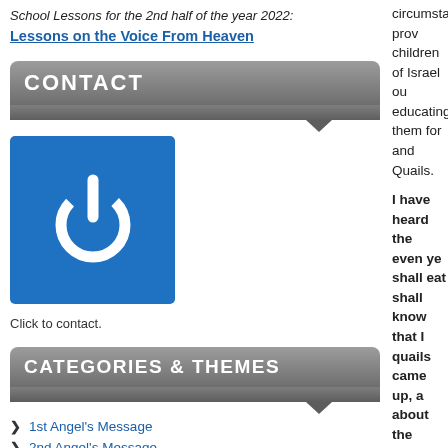School Lessons for the 2nd half of the year 2022:
Lessons on the Voice From Heaven
CONTACT
[Figure (illustration): Blue square button with white power/on symbol icon]
Click to contact.
CATEGORIES & THEMES
1st Angel's Message
2nd Angel's Message
3rd Angel's Message
4th Angel's Message
circumstantial prov children of Israel ou educating them for and Quails.
I have heard the even ye shall eat shall know that I quails came up, a about the host. A the wilderness th ground.  And whe manna: for the w which the Lord ha
Then they continue
And the mixt mul Israel also wept a fish, which we dic leeks, and the on nothing at all, bes